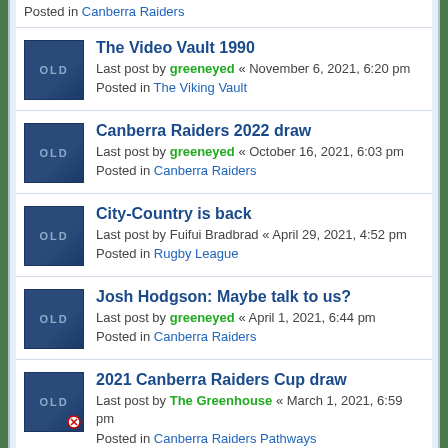Posted in Canberra Raiders
The Video Vault 1990 — Last post by greeneyed « November 6, 2021, 6:20 pm — Posted in The Viking Vault
Canberra Raiders 2022 draw — Last post by greeneyed « October 16, 2021, 6:03 pm — Posted in Canberra Raiders
City-Country is back — Last post by Fuifui Bradbrad « April 29, 2021, 4:52 pm — Posted in Rugby League
Josh Hodgson: Maybe talk to us? — Last post by greeneyed « April 1, 2021, 6:44 pm — Posted in Canberra Raiders
2021 Canberra Raiders Cup draw — Last post by The Greenhouse « March 1, 2021, 6:59 pm — Posted in Canberra Raiders Pathways